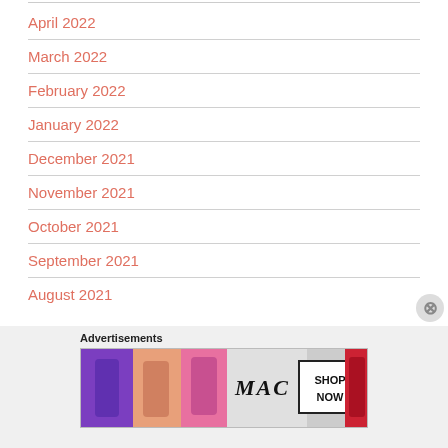April 2022
March 2022
February 2022
January 2022
December 2021
November 2021
October 2021
September 2021
August 2021
Advertisements
[Figure (photo): MAC cosmetics advertisement showing lipsticks in purple, pink, and red colors with MAC logo and SHOP NOW button]